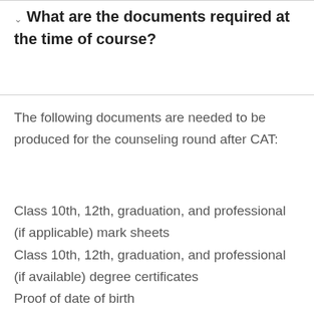What are the documents required at the time of course?
The following documents are needed to be produced for the counseling round after CAT:
Class 10th, 12th, graduation, and professional (if applicable) mark sheets
Class 10th, 12th, graduation, and professional (if available) degree certificates
Proof of date of birth
Caste certificate (if applicable)
Admission letter